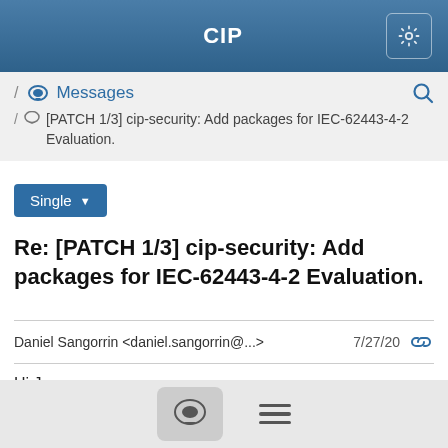CIP
Messages
/ [PATCH 1/3] cip-security: Add packages for IEC-62443-4-2 Evaluation.
Single
Re: [PATCH 1/3] cip-security: Add packages for IEC-62443-4-2 Evaluation.
Daniel Sangorrin <daniel.sangorrin@...>  7/27/20
Hi Jan,